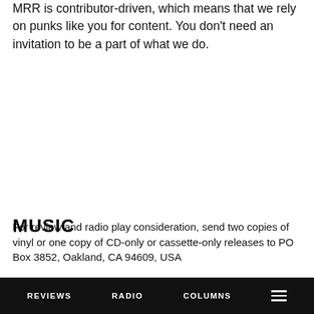MRR is contributor-driven, which means that we rely on punks like you for content. You don't need an invitation to be a part of what we do.
MUSIC
For review and radio play consideration, send two copies of vinyl or one copy of CD-only or cassette-only releases to PO Box 3852, Oakland, CA 94609, USA
REVIEWS   RADIO   COLUMNS